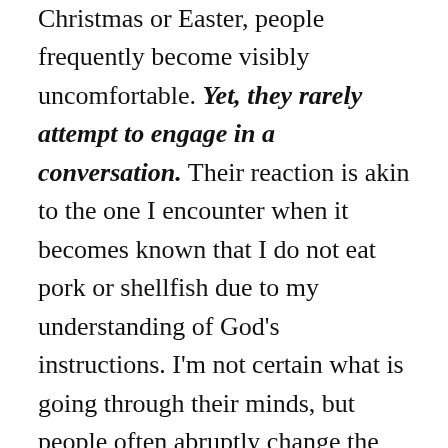Christmas or Easter, people frequently become visibly uncomfortable. Yet, they rarely attempt to engage in a conversation. Their reaction is akin to the one I encounter when it becomes known that I do not eat pork or shellfish due to my understanding of God's instructions. I'm not certain what is going through their minds, but people often abruptly change the subject or even make an excuse to leave! To my face, they say very little. Behind my back.... well, I hear things. I'm rather perplexed as to why it offends them. I wonder if they assume that I will be judging them when they DO partake of the ham or the shrimp. Believe me, that is the farthest thing from my mind! I long ago learned that I have neither the power nor the responsibility to change anyone other than myself